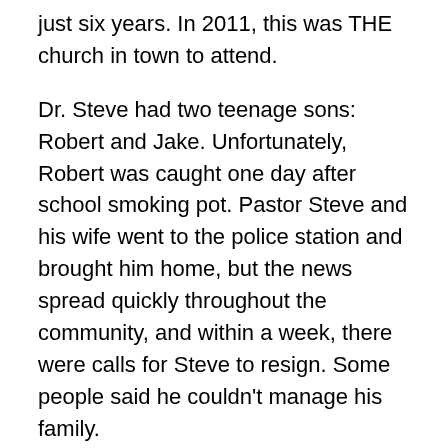just six years.  In 2011, this was THE church in town to attend.
Dr. Steve had two teenage sons: Robert and Jake.  Unfortunately, Robert was caught one day after school smoking pot.  Pastor Steve and his wife went to the police station and brought him home, but the news spread quickly throughout the community, and within a week, there were calls for Steve to resign.  Some people said he couldn’t manage his family.
Steve knew nothing about Robert’s “problem,” and when he found out, he took swift but loving steps to keep his son drug-free, including counseling.  But some people in the church pounced on this news and wanted Steve removed from office at once.  One group of about twenty people stopped attending and giving until Steve was dismissed